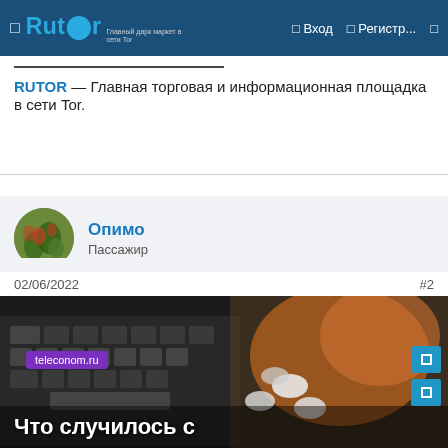Rutor — Вход — Регистр...
RUTOR — Главная торговая и информационная площадка в сети Tor.
Опимо
Пассажир
02/06/2022
#2
[Figure (photo): Фотография с клавиатурой ноутбука и таблетками с текстом teleconom.ru и заголовком 'Что случилось с']